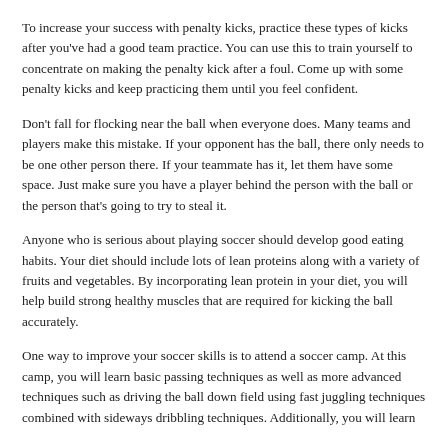To increase your success with penalty kicks, practice these types of kicks after you've had a good team practice. You can use this to train yourself to concentrate on making the penalty kick after a foul. Come up with some penalty kicks and keep practicing them until you feel confident.
Don't fall for flocking near the ball when everyone does. Many teams and players make this mistake. If your opponent has the ball, there only needs to be one other person there. If your teammate has it, let them have some space. Just make sure you have a player behind the person with the ball or the person that's going to try to steal it.
Anyone who is serious about playing soccer should develop good eating habits. Your diet should include lots of lean proteins along with a variety of fruits and vegetables. By incorporating lean protein in your diet, you will help build strong healthy muscles that are required for kicking the ball accurately.
One way to improve your soccer skills is to attend a soccer camp. At this camp, you will learn basic passing techniques as well as more advanced techniques such as driving the ball down field using fast juggling techniques combined with sideways dribbling techniques. Additionally, you will learn